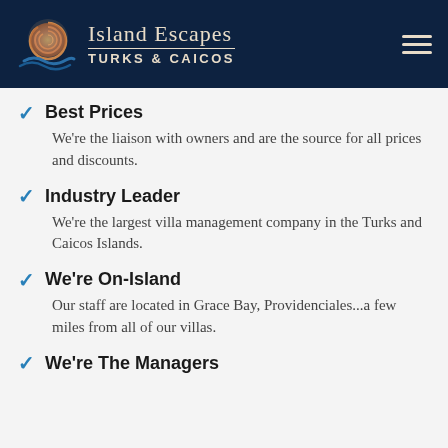Island Escapes TURKS & CAICOS
Best Prices
We're the liaison with owners and are the source for all prices and discounts.
Industry Leader
We're the largest villa management company in the Turks and Caicos Islands.
We're On-Island
Our staff are located in Grace Bay, Providenciales...a few miles from all of our villas.
We're The Managers